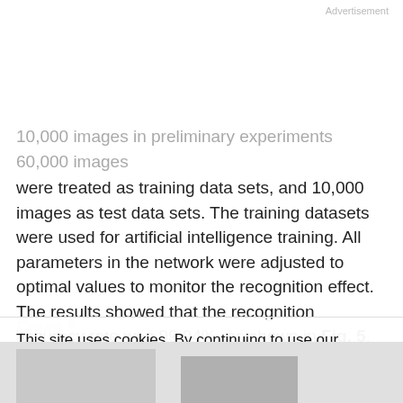Advertisement
10,000 images in preliminary experiments 60,000 images were treated as training data sets, and 10,000 images as test data sets. The training datasets were used for artificial intelligence training. All parameters in the network were adjusted to optimal values to monitor the recognition effect. The results showed that the recognition accuracy rate was 99.94%, as shown in Fig. 5.
Figure 5
This site uses cookies. By continuing to use our website, you are agreeing to our privacy policy. Accept